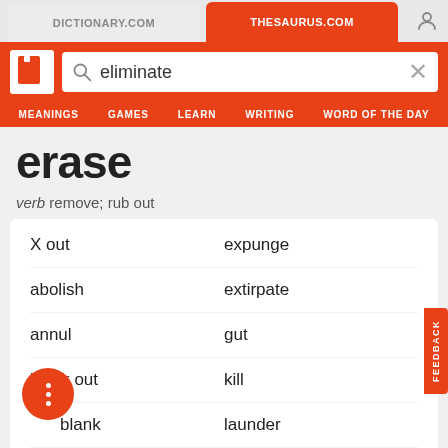DICTIONARY.COM | THESAURUS.COM
erase
verb remove; rub out
X out
expunge
abolish
extirpate
annul
gut
black out
kill
blank
launder
blot
negate